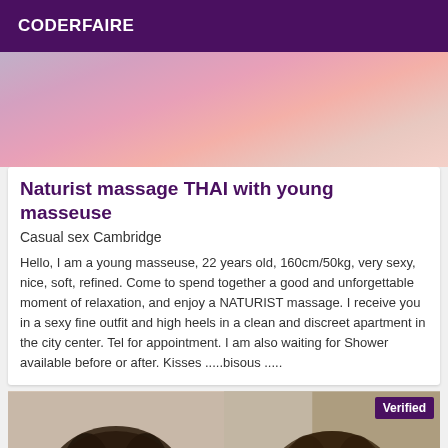CODERFAIRE
[Figure (photo): Partial photo showing pink fabric/clothing, top portion of a listing]
Naturist massage THAI with young masseuse
Casual sex Cambridge
Hello, I am a young masseuse, 22 years old, 160cm/50kg, very sexy, nice, soft, refined. Come to spend together a good and unforgettable moment of relaxation, and enjoy a NATURIST massage. I receive you in a sexy fine outfit and high heels in a clean and discreet apartment in the city center. Tel for appointment. I am also waiting for Shower available before or after. Kisses .....bisous .....
[Figure (photo): Two side-by-side photos of women with curly dark hair; right photo has a purple 'Verified' badge]